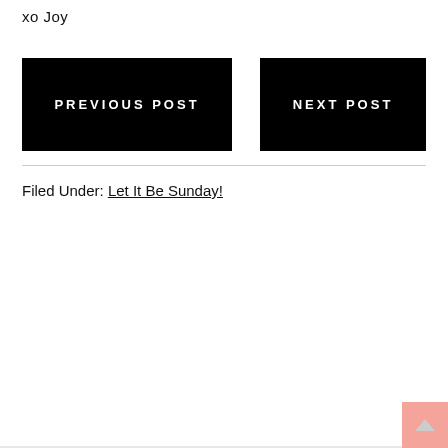xo Joy
PREVIOUS POST
NEXT POST
Filed Under: Let It Be Sunday!